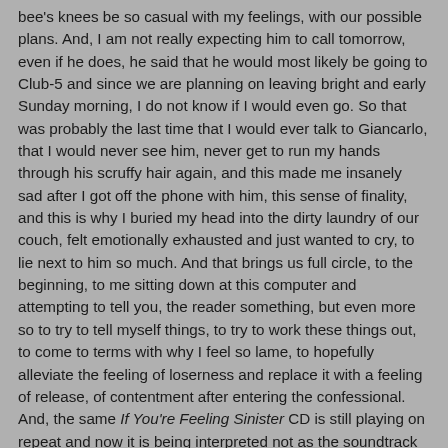bee's knees be so casual with my feelings, with our possible plans. And, I am not really expecting him to call tomorrow, even if he does, he said that he would most likely be going to Club-5 and since we are planning on leaving bright and early Sunday morning, I do not know if I would even go. So that was probably the last time that I would ever talk to Giancarlo, that I would never see him, never get to run my hands through his scruffy hair again, and this made me insanely sad after I got off the phone with him, this sense of finality, and this is why I buried my head into the dirty laundry of our couch, felt emotionally exhausted and just wanted to cry, to lie next to him so much. And that brings us full circle, to the beginning, to me sitting down at this computer and attempting to tell you, the reader something, but even more so to try to tell myself things, to try to work these things out, to come to terms with why I feel so lame, to hopefully alleviate the feeling of loserness and replace it with a feeling of release, of contentment after entering the confessional. And, the same If You're Feeling Sinister CD is still playing on repeat and now it is being interpreted not as the soundtrack to my melancholiness, but as something chipper, a barely contained yelp of love for life and beauty, as if they are biting their lip not to yell with utter delight, saying loud, happy things in hushed tones. And so, I guess this has worked - I no longer have the desire to bury my head into the couch, into stinky clothes that need to be washed, packed, and